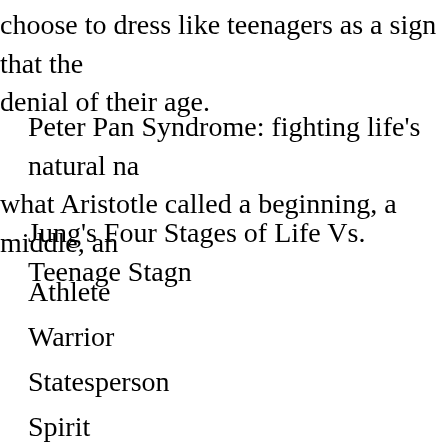choose to dress like teenagers as a sign that the denial of their age.
Peter Pan Syndrome: fighting life's natural na what Aristotle called a beginning, a middle, an
Jung's Four Stages of Life Vs. Teenage Stagn
Athlete
Warrior
Statesperson
Spirit